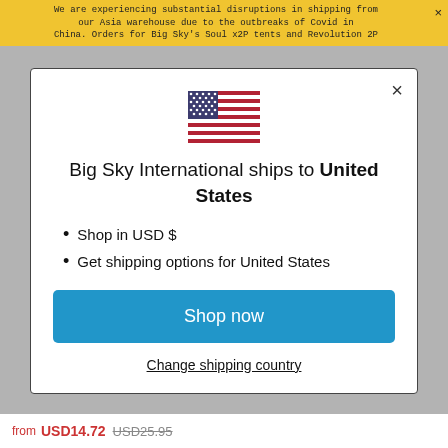We are experiencing substantial disruptions in shipping from our Asia warehouse due to the outbreaks of Covid in China. Orders for Big Sky's Soul x2P tents and Revolution 2P...
[Figure (illustration): US flag icon displayed at top center of modal dialog]
Big Sky International ships to United States
Shop in USD $
Get shipping options for United States
Shop now
Change shipping country
from USD14.72 USD25.95